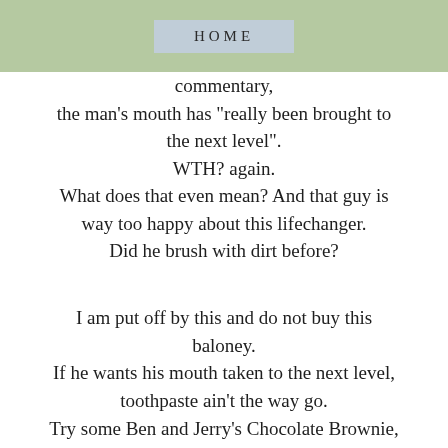HOME
commentary,
the man's mouth has "really been brought to the next level".
WTH? again.
What does that even mean?  And that guy is way too happy about this lifechanger.
Did he brush with dirt before?

I am put off by this and do not buy this baloney.
If he wants his mouth taken to the next level, toothpaste ain't the way go.
Try some Ben and Jerry's Chocolate Brownie, weirdo.
Yeah.  Next.  Level.
Bam.